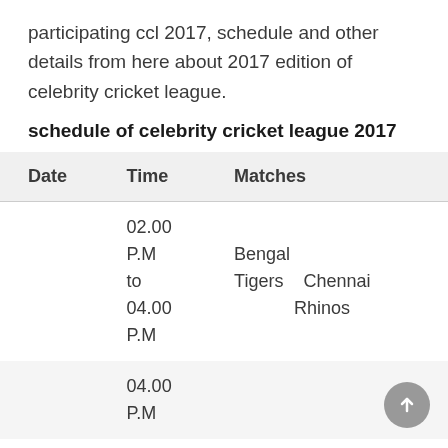participating ccl 2017, schedule and other details from here about 2017 edition of celebrity cricket league.
schedule of celebrity cricket league 2017
| Date | Time | Matches |
| --- | --- | --- |
|  | 02.00 P.M to 04.00 P.M | Bengal Tigers  Chennai Rhinos |
|  | 04.00 P.M |  |